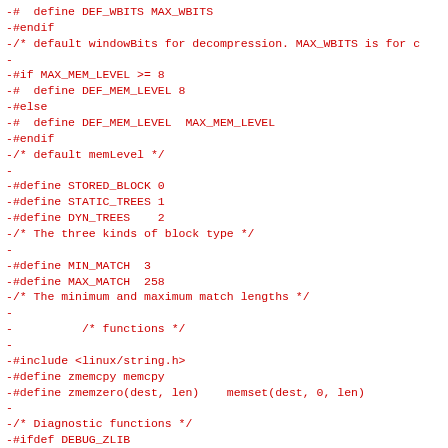[Figure (screenshot): Source code diff showing removed lines (prefixed with -) in red monospace font. The code is from a C header file related to zlib compression library, showing macro definitions for DEF_WBITS, DEF_MEM_LEVEL, STORED_BLOCK, STATIC_TREES, DYN_TREES, MIN_MATCH, MAX_MATCH, function includes, and DEBUG_ZLIB conditional compilation sections.]